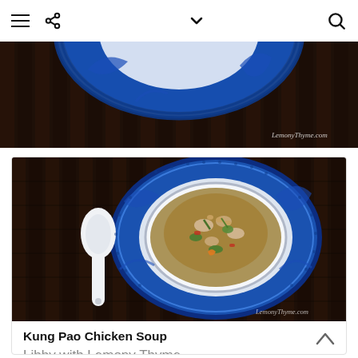Navigation bar with menu, share, dropdown, and search icons
[Figure (photo): Partial top of a blue and white decorative plate with a soup bowl on a dark bamboo mat background. Website watermark: LemonyThyme.com]
[Figure (photo): Overhead view of Kung Pao Chicken Soup in a white bowl on a blue and white decorative plate, with a white ceramic spoon on the left, on a dark bamboo mat background. Watermark: LemonyThyme.com]
Kung Pao Chicken Soup
Libby with Lemony Thyme
5 from 1 vote